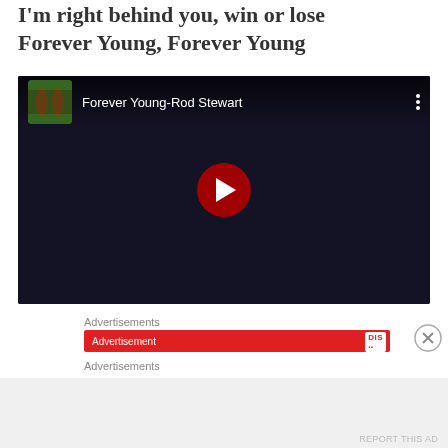I'm right behind you, win or lose
Forever Young, Forever Young
[Figure (screenshot): YouTube video embed showing 'Forever Young-Rod Stewart' with a dark thumbnail of a person in a car, red play button circle in center, and three-dot menu icon at top right.]
Advertisements
[Figure (screenshot): Red advertisement banner with partially visible text and DIS logo badge on right side, with a close (X) button to the right.]
Advertisements